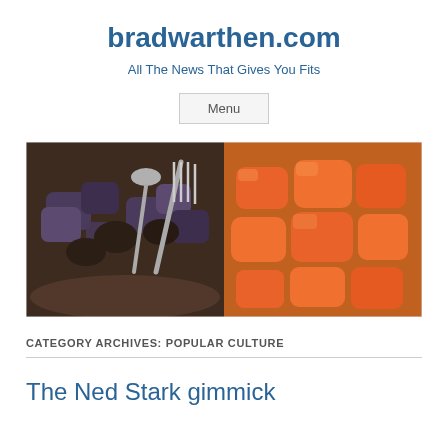bradwarthen.com
All The News That Gives You Fits
Menu
[Figure (photo): Food photo showing two bowls: left side has eggplant/mushrooms with a fork, right side has bright orange carrot/pepper chunks]
CATEGORY ARCHIVES: POPULAR CULTURE
The Ned Stark gimmick